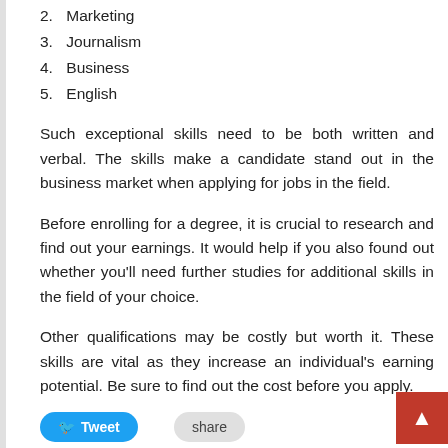2. Marketing
3. Journalism
4. Business
5. English
Such exceptional skills need to be both written and verbal. The skills make a candidate stand out in the business market when applying for jobs in the field.
Before enrolling for a degree, it is crucial to research and find out your earnings. It would help if you also found out whether you'll need further studies for additional skills in the field of your choice.
Other qualifications may be costly but worth it. These skills are vital as they increase an individual's earning potential. Be sure to find out the cost before you apply.